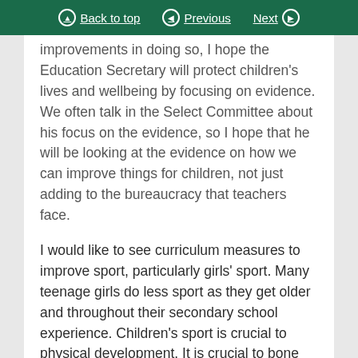Back to top | Previous | Next
improvements in doing so, I hope the Education Secretary will protect children's lives and wellbeing by focusing on evidence. We often talk in the Select Committee about his focus on the evidence, so I hope that he will be looking at the evidence on how we can improve things for children, not just adding to the bureaucracy that teachers face.

I would like to see curriculum measures to improve sport, particularly girls' sport. Many teenage girls do less sport as they get older and throughout their secondary school experience. Children's sport is crucial to physical development. It is crucial to bone health and preventing osteoporosis in the elderly even. It is important to fitness, to mental wellbeing and to improving academic outcomes as well. I look forward to the Secretary of State's formal their